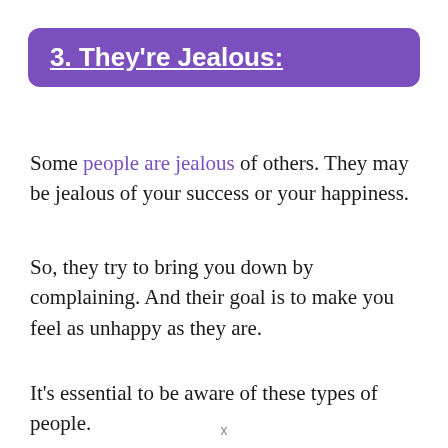3. They're Jealous:
Some people are jealous of others. They may be jealous of your success or your happiness.
So, they try to bring you down by complaining. And their goal is to make you feel as unhappy as they are.
It's essential to be aware of these types of people.